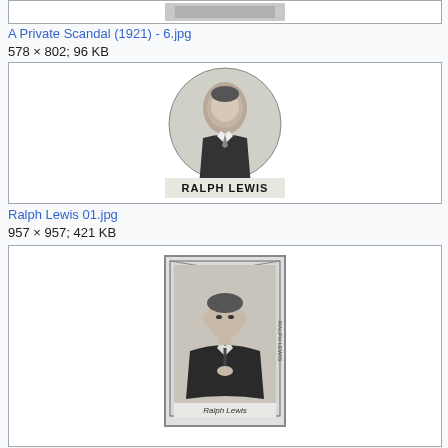[Figure (photo): Partial image at top of page, cropped]
A Private Scandal (1921) - 6.jpg
578 × 802; 96 KB
[Figure (photo): Black and white circular portrait photo of Ralph Lewis with text RALPH LEWIS below]
Ralph Lewis 01.jpg
957 × 957; 421 KB
[Figure (photo): Black and white portrait photo of Ralph Lewis in a decorative frame with caption Ralph Lewis below]